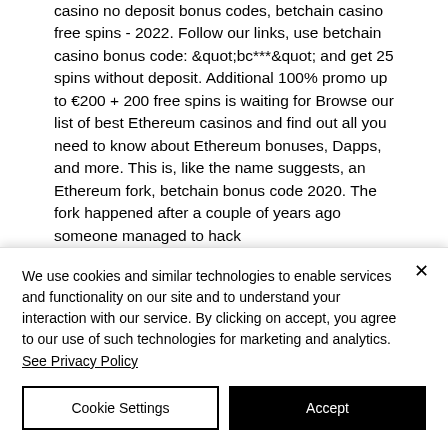casino no deposit bonus codes, betchain casino free spins - 2022. Follow our links, use betchain casino bonus code: &quot;bc***&quot; and get 25 spins without deposit. Additional 100% promo up to €200 + 200 free spins is waiting for Browse our list of best Ethereum casinos and find out all you need to know about Ethereum bonuses, Dapps, and more. This is, like the name suggests, an Ethereum fork, betchain bonus code 2020. The fork happened after a couple of years ago someone managed to hack
We use cookies and similar technologies to enable services and functionality on our site and to understand your interaction with our service. By clicking on accept, you agree to our use of such technologies for marketing and analytics. See Privacy Policy
Cookie Settings
Accept